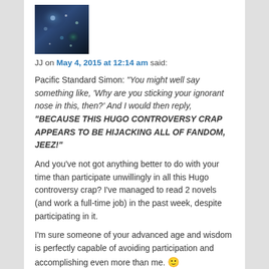[Figure (photo): Avatar photo of user JJ, showing a dark blue and purple abstract/space-like image]
JJ on May 4, 2015 at 12:14 am said:
Pacific Standard Simon: “You might well say something like, ‘Why are you sticking your ignorant nose in this, then?’ And I would then reply, “BECAUSE THIS HUGO CONTROVERSY CRAP APPEARS TO BE HIJACKING ALL OF FANDOM, JEEZ!”

And you’ve not got anything better to do with your time than participate unwillingly in all this Hugo controversy crap? I’ve managed to read 2 novels (and work a full-time job) in the past week, despite participating in it.

I’m sure someone of your advanced age and wisdom is perfectly capable of avoiding participation and accomplishing even more than me. 🙂